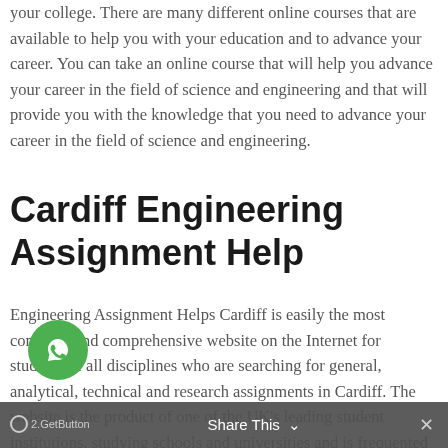your college. There are many different online courses that are available to help you with your education and to advance your career. You can take an online course that will help you advance your career in the field of science and engineering and that will provide you with the knowledge that you need to advance your career in the field of science and engineering.
Cardiff Engineering Assignment Help
Engineering Assignment Helps Cardiff is easily the most complete and comprehensive website on the Internet for students of all disciplines who are searching for general, analytical, technical and research assignments in Cardiff. The website is the product of one of the UK's leading student institutions, studying schools and universities and is frequented by many hundreds of engineering students in the United Kingdom each year. The website is often visited by professionals from the
[Figure (other): WhatsApp floating chat button (green circle with WhatsApp logo)]
2.GetButton    Share This ∨    ✕